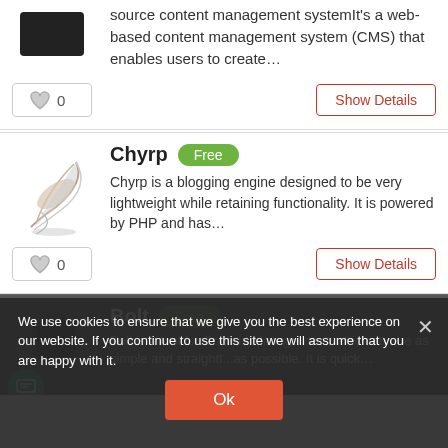source content management systemIt's a web-based content management system (CMS) that enables users to create…
0
Show Details
Chyrp
Free
Chyrp is a blogging engine designed to be very lightweight while retaining functionality. It is powered by PHP and has…
0
Show Details
Bolt is a tool for Content Management, which str...be as simple and straightf...as possible. It is quick…
We use cookies to ensure that we give you the best experience on our website. If you continue to use this site we will assume that you are happy with it.
Ok